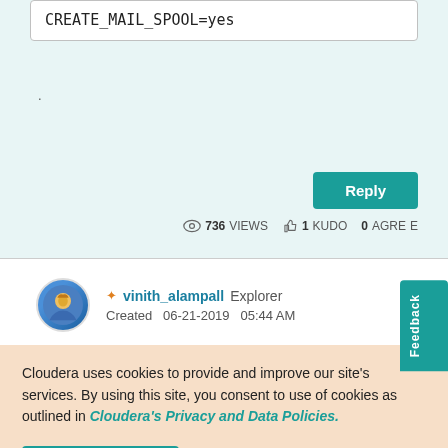CREATE_MAIL_SPOOL=yes
.
Reply
736 VIEWS   1 KUDO   0 AGREE
vinith_alampall  Explorer
Created  06-21-2019  05:44 AM
Feedback
Cloudera uses cookies to provide and improve our site's services. By using this site, you consent to use of cookies as outlined in Cloudera's Privacy and Data Policies.
Accept Cookies